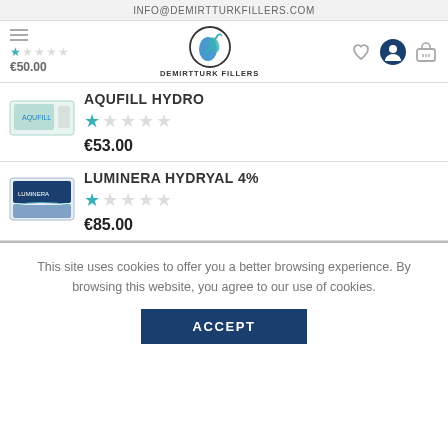INFO@DEMIRTTURKFILLERS.COM
[Figure (logo): Demirtturk Fillers logo with circular design and brand name]
AQUFILL HYDRO
€53.00
LUMINERA HYDRYAL 4%
€85.00
This site uses cookies to offer you a better browsing experience. By browsing this website, you agree to our use of cookies.
ACCEPT